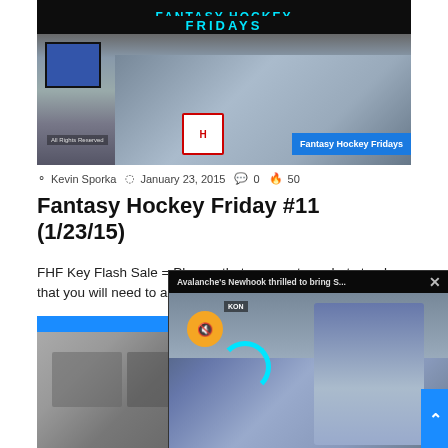[Figure (photo): Fantasy Hockey Fridays banner image with two men watching TV, logo badge visible]
Kevin Sporka  January 23, 2015  0  50
Fantasy Hockey Friday #11 (1/23/15)
FHF Key Flash Sale = Players that are on strong hot streaks that you will need to add immediately before
Read More »
[Figure (photo): Second article thumbnail image, black and white]
[Figure (photo): Popup video overlay: Avalanche's Newhook thrilled to bring S... - video player with muted icon and loading spinner]